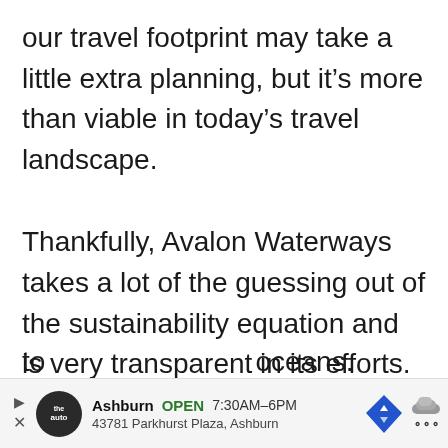our travel footprint may take a little extra planning, but it's more than viable in today's travel landscape.
Thankfully, Avalon Waterways takes a lot of the guessing out of the sustainability equation and is very transparent in its efforts. Home to the Lighthouse Project, the company is committed to measuring their environmental impact and has committed themselves to save water, lessening waste, and using their influence to [obscured] oceans.
[Figure (other): Advertisement banner: Ashburn OPEN 7:30AM-6PM, 43781 Parkhurst Plaza, Ashburn. Shows a Tire Auto logo, navigation arrow icon, and weather icon.]